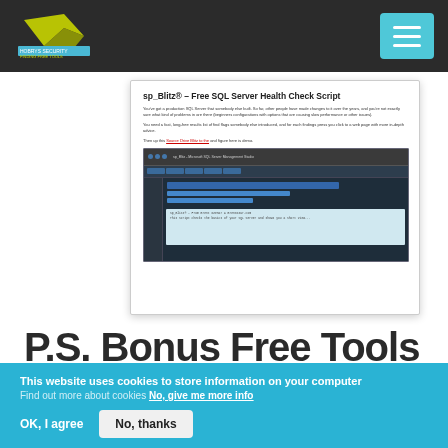Hozrys Security - Finding Free Tools
[Figure (screenshot): Screenshot of a webpage showing 'sp_Blitz® – Free SQL Server Health Check Script' with text and a SQL Server Management Studio screenshot embedded within]
P.S. Bonus Free Tools
Zenmap is the multiplatform, open-source GUI for Nmap Security Scanner. Makes Nmap easier for beginners while also
This website uses cookies to store information on your computer Find out more about cookies No, give me more info
OK, I agree   No, thanks